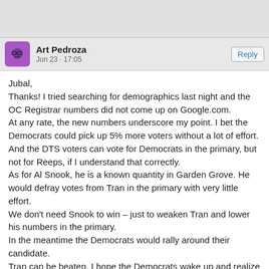[Figure (other): Gray top bar area, cropped from page above]
Art Pedroza  Jun 23 - 17:05  Reply
Jubal,
Thanks! I tried searching for demographics last night and the OC Registrar numbers did not come up on Google.com.
At any rate, the new numbers underscore my point. I bet the Democrats could pick up 5% more voters without a lot of effort. And the DTS voters can vote for Democrats in the primary, but not for Reeps, if I understand that correctly.
As for Al Snook, he is a known quantity in Garden Grove. He would defray votes from Tran in the primary with very little effort.
We don’t need Snook to win – just to weaken Tran and lower his numbers in the primary.
In the meantime the Democrats would rally around their candidate.
Tran can be beaten. I hope the Democrats wake up and realize that!